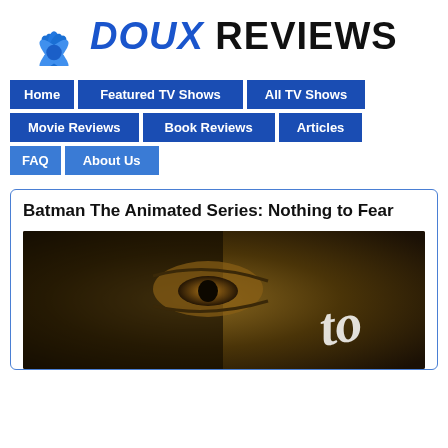[Figure (logo): Doux Reviews logo with blue lotus flower and bold text 'DOUX REVIEWS']
Home
Featured TV Shows
All TV Shows
Movie Reviews
Book Reviews
Articles
FAQ
About Us
Batman The Animated Series: Nothing to Fear
[Figure (photo): Dark golden-toned close-up still from Batman The Animated Series showing a shadowy eye and partial text 'to']